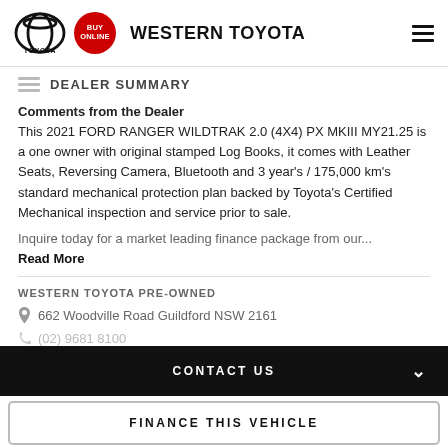WESTERN TOYOTA
DEALER SUMMARY
Comments from the Dealer
This 2021 FORD RANGER WILDTRAK 2.0 (4X4) PX MKIII MY21.25 is a one owner with original stamped Log Books, it comes with Leather Seats, Reversing Camera, Bluetooth and 3 year's / 175,000 km's standard mechanical protection plan backed by Toyota's Certified Mechanical inspection and service prior to sale.

Inquire today for a market leading finance package from our...
Read More
WESTERN TOYOTA PRE-OWNED
662 Woodville Road Guildford NSW 2161
(02) 9681 8100
CONTACT US
FINANCE THIS VEHICLE